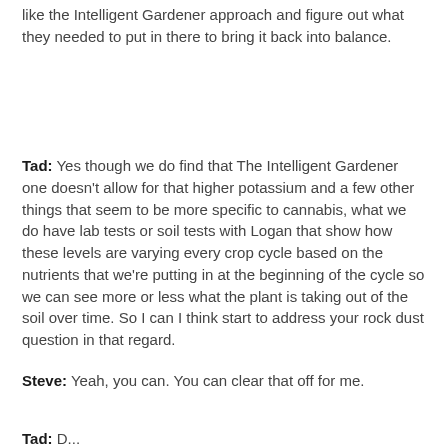like the Intelligent Gardener approach and figure out what they needed to put in there to bring it back into balance.
Tad: Yes though we do find that The Intelligent Gardener one doesn't allow for that higher potassium and a few other things that seem to be more specific to cannabis, what we do have lab tests or soil tests with Logan that show how these levels are varying every crop cycle based on the nutrients that we're putting in at the beginning of the cycle so we can see more or less what the plant is taking out of the soil over time. So I can I think start to address your rock dust question in that regard.
Steve: Yeah, you can. You can clear that off for me.
Tad: D...